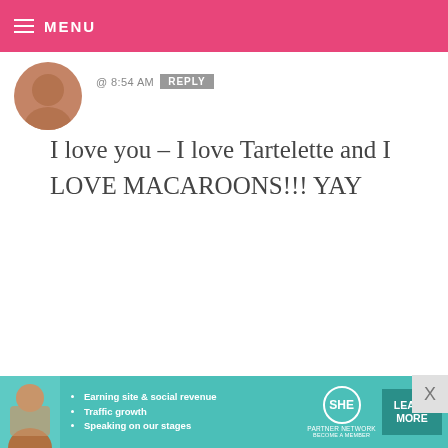MENU
@ 8:54 AM   REPLY
I love you – I love Tartelette and I LOVE MACAROONS!!! YAY
JUDITH BEATTY — FEBRUARY 19, 2010 @ 8:46 AM   REPLY
#78 Melissa – why do you follow Bakerella if you're so upset on her methods of presentation/decorating. Your comments aren't respectful and uncalled for.
[Figure (infographic): SHE Partner Network advertisement banner with bullet points: Earning site & social revenue, Traffic growth, Speaking on our stages. Includes LEARN MORE button.]